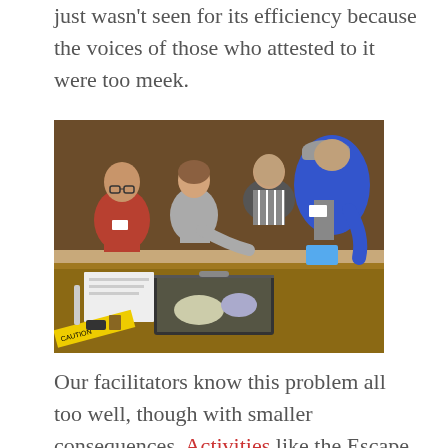just wasn't seen for its efficiency because the voices of those who attested to it were too meek.
[Figure (photo): Group of people gathered around a table working on an escape room style activity with a briefcase, tools, and papers on the table. People include a woman in red, a woman in gray, a man in a striped shirt leaning over, and a man in a blue jacket.]
Our facilitators know this problem all too well, though with smaller consequences. Activities like the Escape